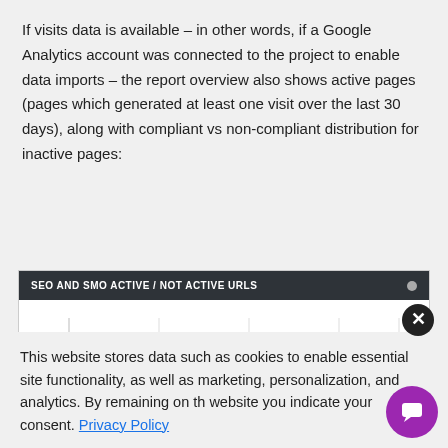If visits data is available – in other words, if a Google Analytics account was connected to the project to enable data imports – the report overview also shows active pages (pages which generated at least one visit over the last 30 days), along with compliant vs non-compliant distribution for inactive pages:
[Figure (screenshot): Partial screenshot of a chart titled 'SEO AND SMO ACTIVE / NOT ACTIVE URLS' with a dark header bar and a horizontal bar chart below showing colored segments (green, blue, red)]
This website stores data such as cookies to enable essential site functionality, as well as marketing, personalization, and analytics. By remaining on this website you indicate your consent. Privacy Policy